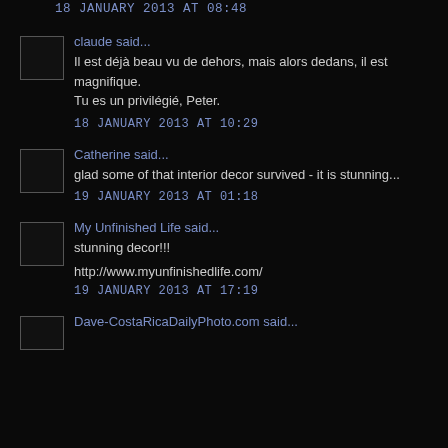18 JANUARY 2013 AT 08:48
claude said...
Il est déjà beau vu de dehors, mais alors dedans, il est magnifique. Tu es un privilégié, Peter.
18 JANUARY 2013 AT 10:29
Catherine said...
glad some of that interior decor survived - it is stunning...
19 JANUARY 2013 AT 01:18
My Unfinished Life said...
stunning decor!!!
http://www.myunfinishedlife.com/
19 JANUARY 2013 AT 17:19
Dave-CostaRicaDailyPhoto.com said...